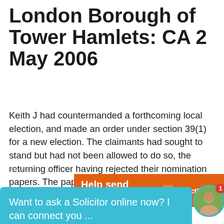London Borough of Tower Hamlets: CA 2 May 2006
Keith J had countermanded a forthcoming local election, and made an order under section 39(1) for a new election. The claimants had sought to stand but had not been allowed to do so, the returning officer having rejected their nomination papers. The papers had errors, but these were only discovered after nominations closed. Held: The ...
Continue reading
[Figure (other): Orange advertisement banner for DirectRelief with text 'Help send medical aid']
Want to ask a Solicitor online now? I can connect you ...